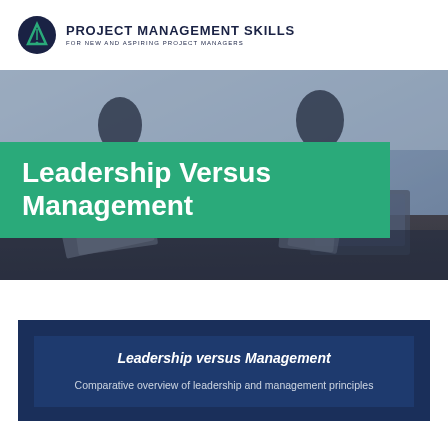PROJECT MANAGEMENT SKILLS FOR NEW AND ASPIRING PROJECT MANAGERS
[Figure (photo): Business meeting photo showing silhouettes of people standing around a table with documents and laptop, blue-tinted office background]
Leadership Versus Management
Leadership versus Management
Comparative leadership and management discussion text (partially visible)